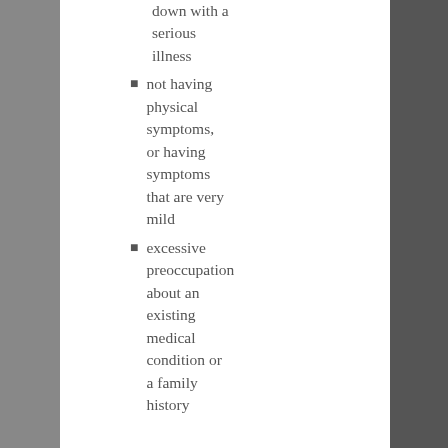down with a serious illness
not having physical symptoms, or having symptoms that are very mild
excessive preoccupation about an existing medical condition or a family history